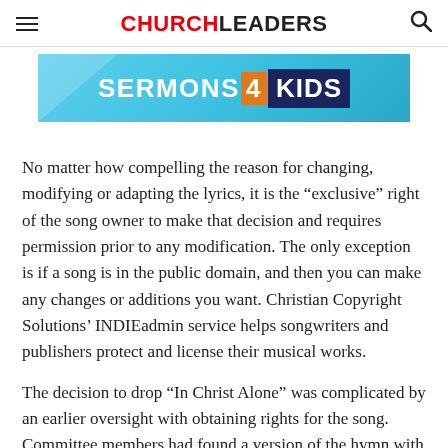CHURCHLEADERS
[Figure (illustration): Sermons4Kids advertisement banner with light blue background and logo text]
No matter how compelling the reason for changing, modifying or adapting the lyrics, it is the “exclusive” right of the song owner to make that decision and requires permission prior to any modification. The only exception is if a song is in the public domain, and then you can make any changes or additions you want. Christian Copyright Solutions’ INDIEadmin service helps songwriters and publishers protect and license their musical works.
The decision to drop “In Christ Alone” was complicated by an earlier oversight with obtaining rights for the song. Committee members had found a version of the hymn with